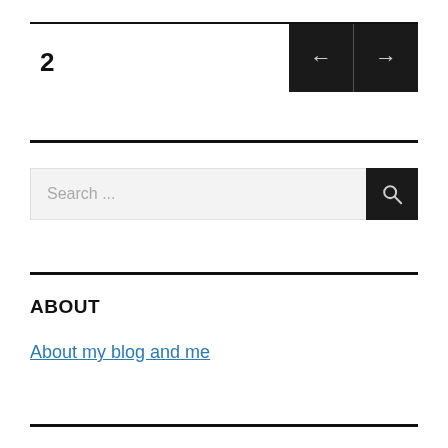2
[Figure (other): Navigation buttons with left arrow and right arrow on dark background]
Search ...
ABOUT
About my blog and me